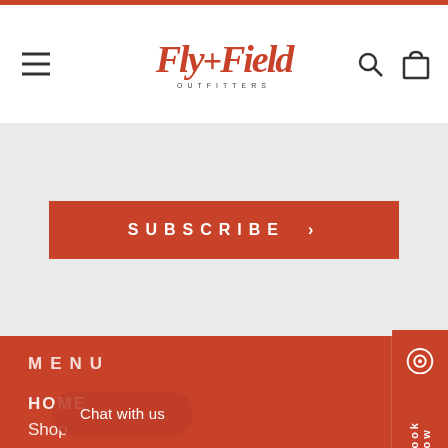[Figure (logo): Fly + Field Outfitters logo in cursive red font with OUTFITTERS subtitle]
SUBSCRIBE ›
MENU
HOME
Shop
Guided Trips
Local Waters
Fi...
Blog
Chat with us
Book Now